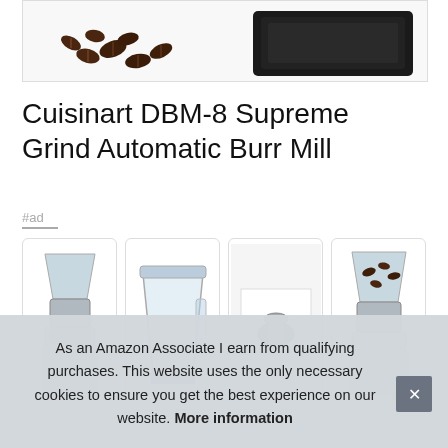[Figure (photo): Partial product image showing coffee beans and a dark tray/scale at the top of the page]
Cuisinart DBM-8 Supreme Grind Automatic Burr Mill
#ad
[Figure (photo): Thumbnail gallery of four product images: burr grinder full view, clear hopper container, small grinder part on white background, and grinder filled with coffee beans]
As an Amazon Associate I earn from qualifying purchases. This website uses the only necessary cookies to ensure you get the best experience on our website. More information